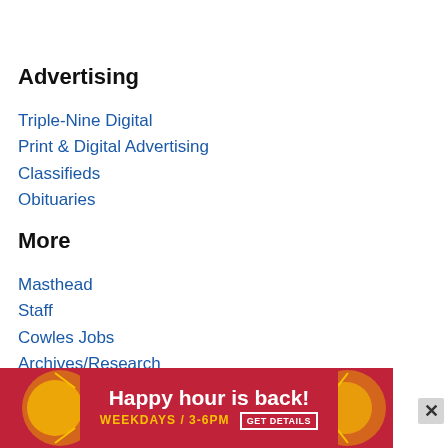Advertising
Triple-Nine Digital
Print & Digital Advertising
Classifieds
Obituaries
More
Masthead
Staff
Cowles Jobs
Archives/Research
RSS Feeds
Buy photo reprints
Jumble
Crossw…
[Figure (infographic): Red advertisement banner: 'Happy hour is back! WEEKDAYS / 3-6PM GET DETAILS' with decorative circular graphic elements and a close (X) button]